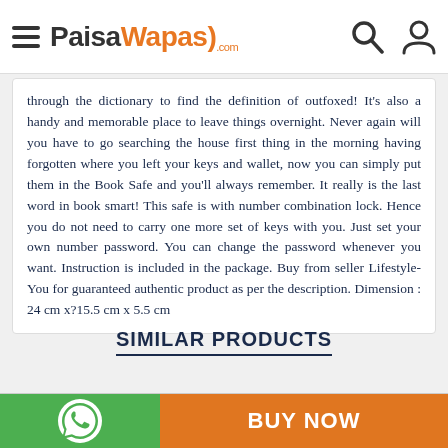PaisaWapas.com
through the dictionary to find the definition of outfoxed! It's also a handy and memorable place to leave things overnight. Never again will you have to go searching the house first thing in the morning having forgotten where you left your keys and wallet, now you can simply put them in the Book Safe and you'll always remember. It really is the last word in book smart! This safe is with number combination lock. Hence you do not need to carry one more set of keys with you. Just set your own number password. You can change the password whenever you want. Instruction is included in the package. Buy from seller Lifestyle-You for guaranteed authentic product as per the description. Dimension : 24 cm x?15.5 cm x 5.5 cm
SIMILAR PRODUCTS